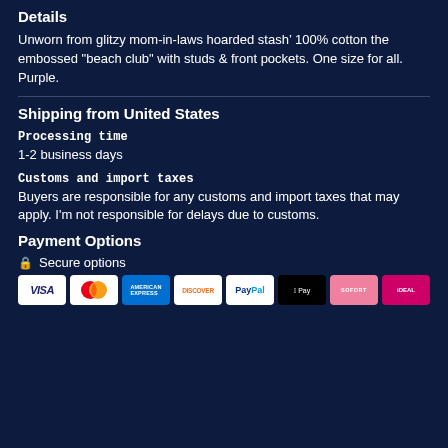Details
Unworn from glitzy mom-in-laws hoarded stash. 100% cotton the embossed "beach club" with studs & front pockets. One size for all. Purple.
Shipping from United States
Processing time
1-2 business days
Customs and import taxes
Buyers are responsible for any customs and import taxes that may apply. I'm not responsible for delays due to customs.
Payment Options
🔒 Secure options
[Figure (other): Row of payment method logos: Visa, Mastercard, American Express, Discover, PayPal, Apple Pay, SOFORT, iDEAL]